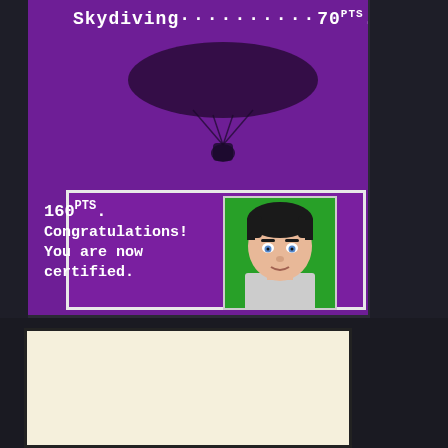[Figure (screenshot): Video game screenshot showing skydiving score 'Skydiving..........70 PTS.' on purple background with skydiver silhouette image]
Skydiving..........70 PTS.
160 PTS. Congratulations! You are now certified.
[Figure (screenshot): Character portrait of a young man with dark hair on green background]
[Figure (screenshot): License card showing wings logo with text 'LICENSE', circle badge 'A', and text: THIS DOCUMENT CERTIFIES THAT YOU HAVE EARNED AN INTERNATIONAL A CLASS LICENSE TO FLY YOUR]